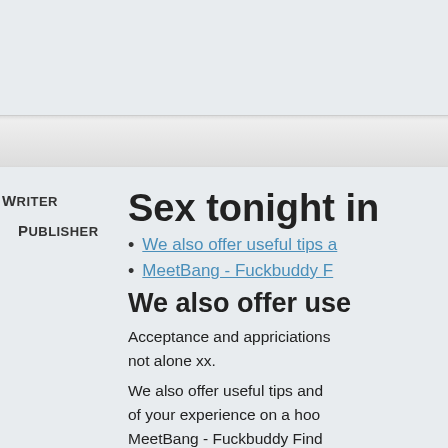[Figure (screenshot): Top navigation/header area of a webpage with light gray background]
[Figure (screenshot): Search bar input field with rounded rectangle style]
Writer
Publisher
Sex tonight in
We also offer useful tips a
MeetBang - Fuckbuddy F
We also offer use
Acceptance and appriciations not alone xx.
We also offer useful tips and of your experience on a hoo MeetBang - Fuckbuddy Find i will partition to satisfy trying have to not say other credit n